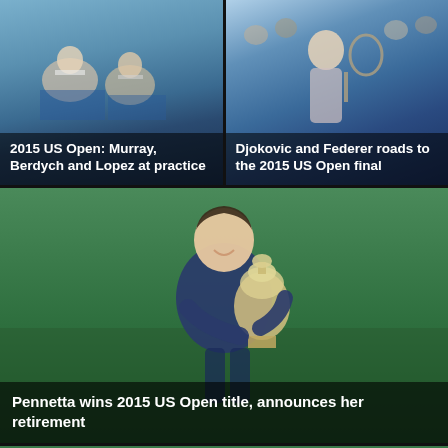[Figure (photo): Tennis players Murray, Berdych and Lopez at practice court, seated and standing]
2015 US Open: Murray, Berdych and Lopez at practice
[Figure (photo): Djokovic holding tennis racket with crowd in background]
Djokovic and Federer roads to the 2015 US Open final
[Figure (photo): Pennetta smiling and holding the US Open trophy on green court]
Pennetta wins 2015 US Open title, announces her retirement
[Figure (photo): Tennis match scene with serve speed display and Polo Ralph Lauren sponsorship banner visible]